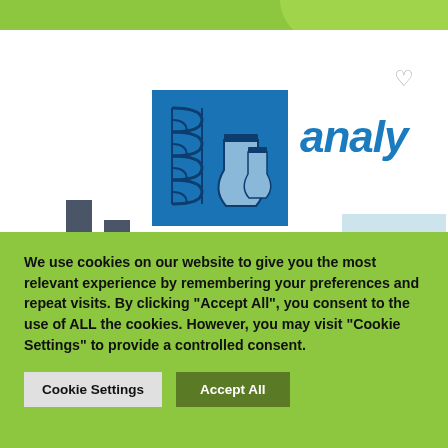[Figure (screenshot): Website screenshot showing a science/analytics website with a green brush-stroke top banner, a blue laboratory logo square with coiled tubing and flask icons, partially visible italic blue text 'analy', gray bar chart bars on the left, a small light blue box with green leaf illustration bottom right, and a gray heart/favorite icon top right.]
We use cookies on our website to give you the most relevant experience by remembering your preferences and repeat visits. By clicking “Accept All”, you consent to the use of ALL the cookies. However, you may visit “Cookie Settings” to provide a controlled consent.
Cookie Settings
Accept All